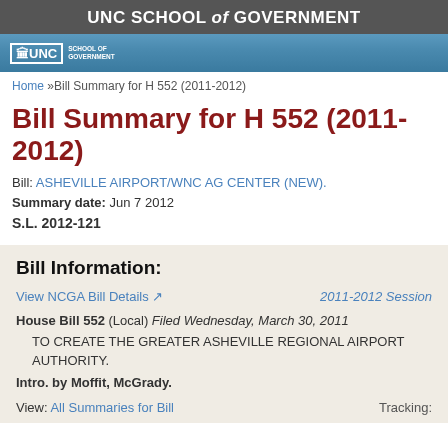UNC SCHOOL of GOVERNMENT
Home »Bill Summary for H 552 (2011-2012)
Bill Summary for H 552 (2011-2012)
Bill: ASHEVILLE AIRPORT/WNC AG CENTER (NEW).
Summary date: Jun 7 2012
S.L. 2012-121
Bill Information:
View NCGA Bill Details   2011-2012 Session
House Bill 552 (Local) Filed Wednesday, March 30, 2011
TO CREATE THE GREATER ASHEVILLE REGIONAL AIRPORT AUTHORITY.
Intro. by Moffit, McGrady.
View: All Summaries for Bill   Tracking: